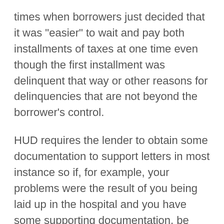times when borrowers just decided that it was "easier" to wait and pay both installments of taxes at one time even though the first installment was delinquent that way or other reasons for delinquencies that are not beyond the borrower's control.
HUD requires the lender to obtain some documentation to support letters in most instance so if, for example, your problems were the result of you being laid up in the hospital and you have some supporting documentation, be honest with the lender and let them know you were in an accident and were out of work